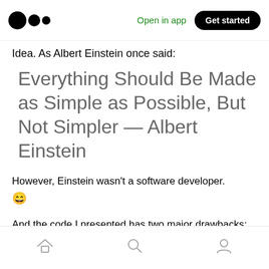Open in app | Get started
Idea. As Albert Einstein once said:
Everything Should Be Made as Simple as Possible, But Not Simpler — Albert Einstein
However, Einstein wasn't a software developer. 😄
And the code I presented has two major drawbacks:
Home | Search | Profile